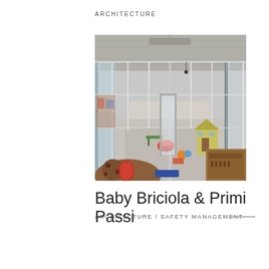ARCHITECTURE
[Figure (photo): Interior photo of a children's daycare/nursery facility showing a glass-walled corridor with colorful play equipment and toys on a paved outdoor courtyard, viewed from inside. Large glass panels and white aluminum frames are prominent, with wooden play structures in the foreground.]
Baby Briciola & Primi Passi
ARCHITECTURE / SAFETY MANAGEMENT